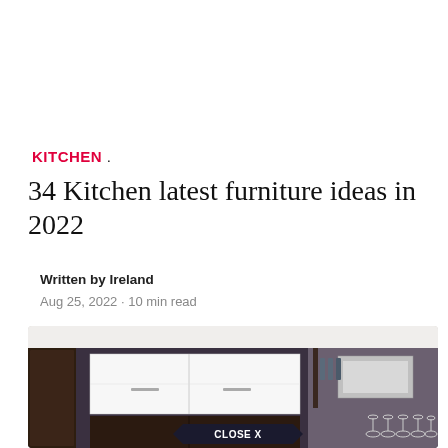KITCHEN .
34 Kitchen latest furniture ideas in 2022
Written by Ireland
Aug 25, 2022 · 10 min read
[Figure (photo): Modern kitchen interior with dark wood lower cabinets, white upper cabinets, stainless steel range hood, and wine glasses on a shelf. A 'CLOSE X' button overlay is visible at the bottom center.]